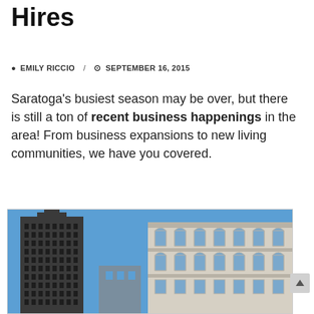Hires
EMILY RICCIO / SEPTEMBER 16, 2015
Saratoga's busiest season may be over, but there is still a ton of recent business happenings in the area! From business expansions to new living communities, we have you covered.
[Figure (photo): Photo of Albany city buildings: a tall modern skyscraper on the left and a classical stone government building on the right, against a blue sky.]